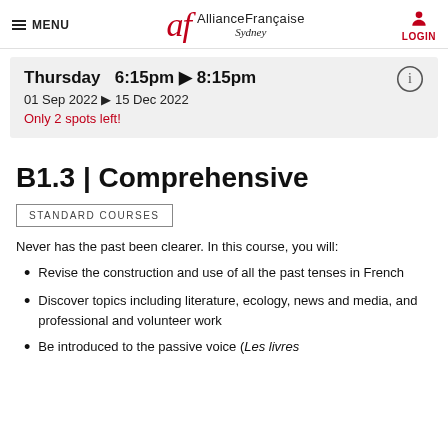MENU | Alliance Française Sydney | LOGIN
Thursday 6:15pm ▶ 8:15pm
01 Sep 2022 ▶ 15 Dec 2022
Only 2 spots left!
B1.3 | Comprehensive
STANDARD COURSES
Never has the past been clearer. In this course, you will:
Revise the construction and use of all the past tenses in French
Discover topics including literature, ecology, news and media, and professional and volunteer work
Be introduced to the passive voice (Les livres